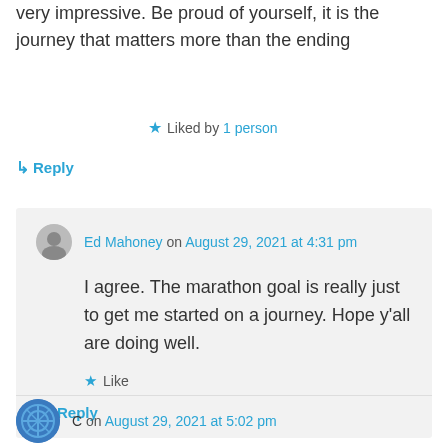very impressive. Be proud of yourself, it is the journey that matters more than the ending
Liked by 1 person
Reply
Ed Mahoney on August 29, 2021 at 4:31 pm
I agree. The marathon goal is really just to get me started on a journey. Hope y’all are doing well.
Like
Reply
C on August 29, 2021 at 5:02 pm